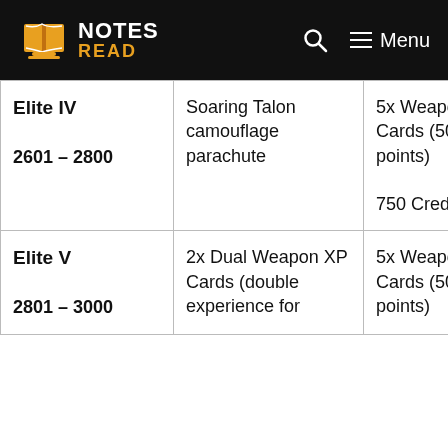NOTES READ — Menu
| Level | Reward 1 | Reward 2 |
| --- | --- | --- |
| Elite IV
2601 – 2800 | Soaring Talon camouflage parachute | 5x Weapon XP Cards (500 points)
750 Credits |
| Elite V
2801 – 3000 | 2x Dual Weapon XP Cards (double experience for | 5x Weapon XP Cards (500 points) |